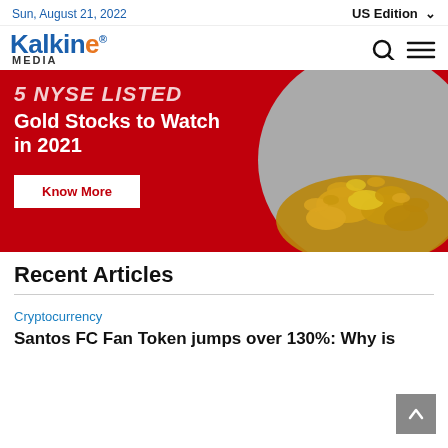Sun, August 21, 2022   US Edition
[Figure (logo): Kalkine Media logo with blue 'Kalkine' text, orange 'e', and 'MEDIA' subtitle]
[Figure (infographic): Red banner advertisement for '5 NYSE LISTED Gold Stocks to Watch in 2021' with a Know More button and gold nuggets image on the right]
Recent Articles
Cryptocurrency
Santos FC Fan Token jumps over 130%: Why is